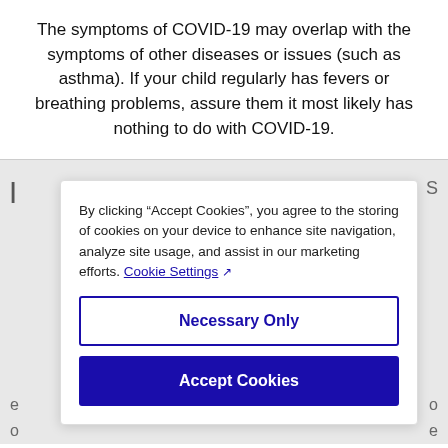The symptoms of COVID-19 may overlap with the symptoms of other diseases or issues (such as asthma). If your child regularly has fevers or breathing problems, assure them it most likely has nothing to do with COVID-19.
By clicking “Accept Cookies”, you agree to the storing of cookies on your device to enhance site navigation, analyze site usage, and assist in our marketing efforts. Cookie Settings
Necessary Only
Accept Cookies